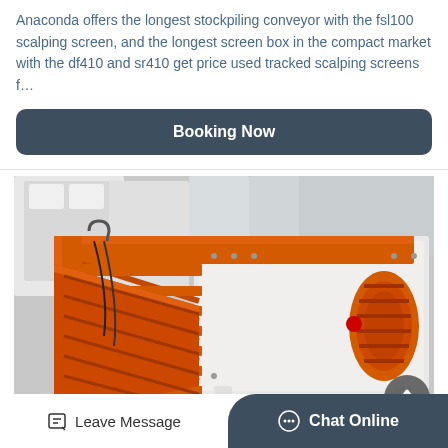Anaconda offers the longest stockpiling conveyor with the fsl100 scalping screen, and the longest screen box in the compact market with the df410 and sr410 get price used tracked scalping screens f…
[Figure (other): Booking Now button — dark grey rounded rectangle with white bold text]
[Figure (photo): Industrial vibrating screen / scalping screen machine in orange and white, photographed indoors in a manufacturing facility]
Leave Message
Chat Online